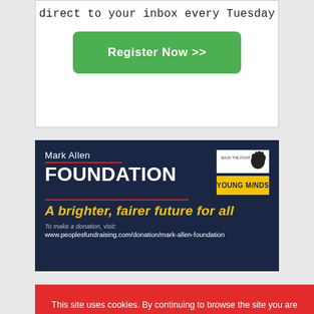direct to your inbox every Tuesday
Register Now >>
[Figure (infographic): Mark Allen Foundation advertisement with dark navy background. Shows 'Mark Allen FOUNDATION' title with red underline, logos for two charities (one with handprint, one YOUNGMiNDS in yellow), tagline 'A brighter, fairer future for all' in gold italic, and donation URL www.peoplesfundraising.com/donation/mark-allen-foundation]
This site uses cookies. By continuing to browse the site you are agreeing to our use of cookies. Find out more here    [X]